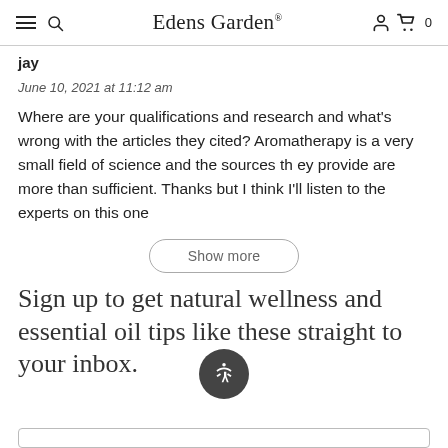Edens Garden
jay
June 10, 2021 at 11:12 am
Where are your qualifications and research and what's wrong with the articles they cited? Aromatherapy is a very small field of science and the sources th ey provide are more than sufficient. Thanks but I think I'll listen to the experts on this one
Show more
Sign up to get natural wellness and essential oil tips like these straight to your inbox.